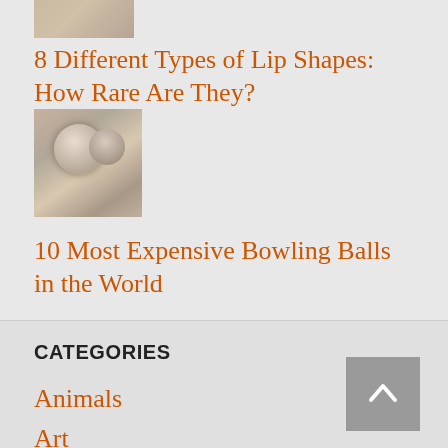[Figure (photo): Partial thumbnail image at top, cut off]
8 Different Types of Lip Shapes: How Rare Are They?
[Figure (photo): Thumbnail image of bowling balls, sepia toned]
10 Most Expensive Bowling Balls in the World
CATEGORIES
Animals
Art
Cars